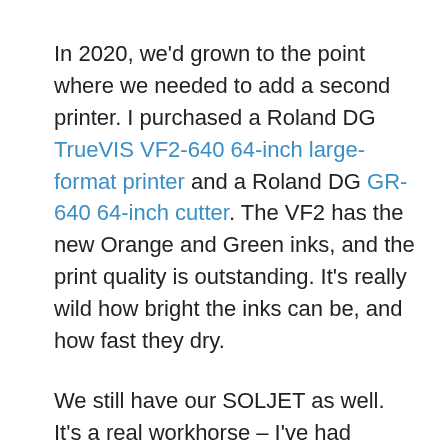In 2020, we'd grown to the point where we needed to add a second printer. I purchased a Roland DG TrueVIS VF2-640 64-inch large-format printer and a Roland DG GR-640 64-inch cutter. The VF2 has the new Orange and Green inks, and the print quality is outstanding. It's really wild how bright the inks can be, and how fast they dry.
We still have our SOLJET as well.  It's a real workhorse – I've had absolutely zero issues with that machine all these years. The nice thing about having two printers is you can get projects knocked out really quickly.
Wh...